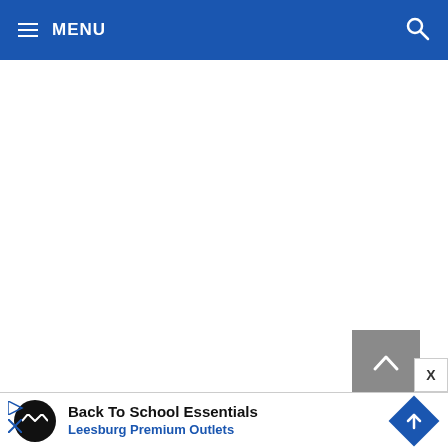≡ MENU
[Figure (screenshot): White empty content area below navigation bar]
[Figure (infographic): Gray scroll-to-top button with upward chevron arrow]
[Figure (infographic): X close button in white box with gray border]
[Figure (infographic): Advertisement banner: Back To School Essentials - Leesburg Premium Outlets, with circular logo and blue navigation diamond icon]